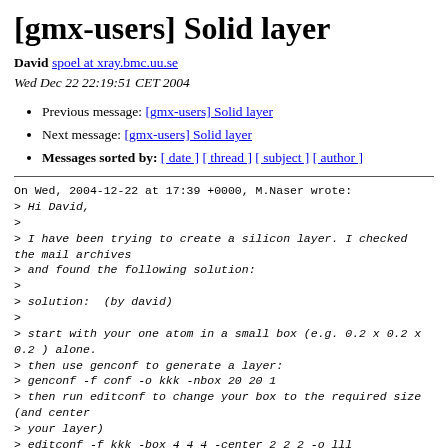[gmx-users] Solid layer
David spoel at xray.bmc.uu.se
Wed Dec 22 22:19:51 CET 2004
Previous message: [gmx-users] Solid layer
Next message: [gmx-users] Solid layer
Messages sorted by: [ date ] [ thread ] [ subject ] [ author ]
On Wed, 2004-12-22 at 17:39 +0000, M.Naser wrote:
> Hi David,
>
> I have been trying to create a silicon layer. I checked the mail archives
> and found the following solution:
>
> solution:  (by david)
>
> start with your one atom in a small box (e.g. 0.2 x 0.2 x 0.2 ) alone.
> then use genconf to generate a layer:
> genconf -f conf -o kkk -nbox 20 20 1
> then run editconf to change your box to the required size (and center
> your layer)
> editconf -f kkk -box 4 4 4 -center 2 2 2 -o lll